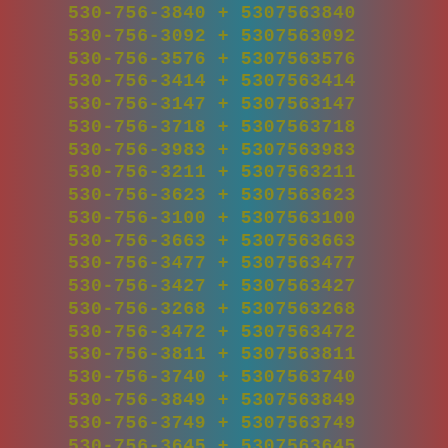530-756-3840 + 5307563840
530-756-3092 + 5307563092
530-756-3576 + 5307563576
530-756-3414 + 5307563414
530-756-3147 + 5307563147
530-756-3718 + 5307563718
530-756-3983 + 5307563983
530-756-3211 + 5307563211
530-756-3623 + 5307563623
530-756-3100 + 5307563100
530-756-3663 + 5307563663
530-756-3477 + 5307563477
530-756-3427 + 5307563427
530-756-3268 + 5307563268
530-756-3472 + 5307563472
530-756-3811 + 5307563811
530-756-3740 + 5307563740
530-756-3849 + 5307563849
530-756-3749 + 5307563749
530-756-3645 + 5307563645
530-756-3797 + 5307563797
530-756-3175 + 5307563175